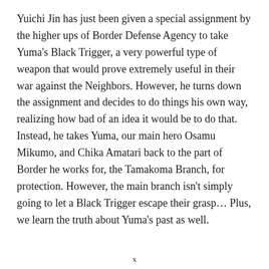Yuichi Jin has just been given a special assignment by the higher ups of Border Defense Agency to take Yuma's Black Trigger, a very powerful type of weapon that would prove extremely useful in their war against the Neighbors. However, he turns down the assignment and decides to do things his own way, realizing how bad of an idea it would be to do that. Instead, he takes Yuma, our main hero Osamu Mikumo, and Chika Amatari back to the part of Border he works for, the Tamakoma Branch, for protection. However, the main branch isn't simply going to let a Black Trigger escape their grasp… Plus, we learn the truth about Yuma's past as well.
x